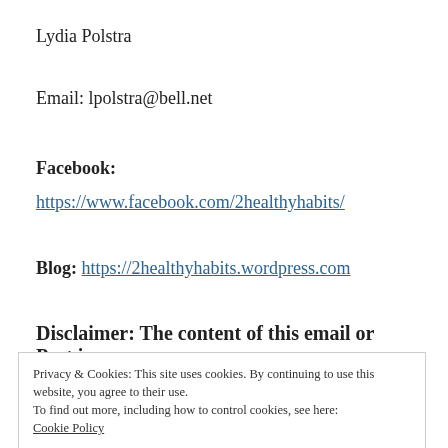Lydia Polstra
Email: lpolstra@bell.net
Facebook:
https://www.facebook.com/2healthyhabits/
Blog: https://2healthyhabits.wordpress.com
Disclaimer: The content of this email or Post is
Privacy & Cookies: This site uses cookies. By continuing to use this website, you agree to their use.
To find out more, including how to control cookies, see here:
Cookie Policy
Close and accept